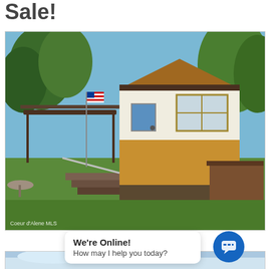Sale!
[Figure (photo): Exterior photo of a small manufactured/mobile home with yellow and white siding, a covered porch area, wooden steps, an American flag, surrounded by trees and green grass. MLS watermark in bottom left corner.]
8418 W MEADOW BROOK CIR
Rathdrum, Idaho 83858
We're Online! How may I help you today?
[Figure (photo): Partial view of another property photo showing blue sky at the bottom of the page.]